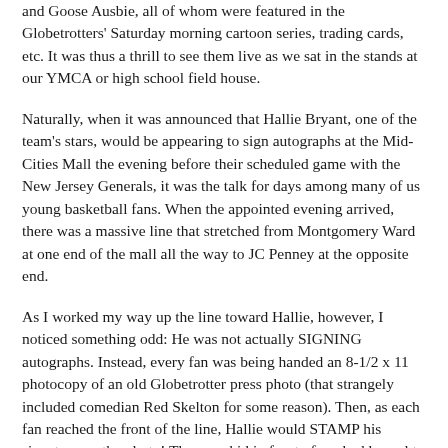and Goose Ausbie, all of whom were featured in the Globetrotters' Saturday morning cartoon series, trading cards, etc. It was thus a thrill to see them live as we sat in the stands at our YMCA or high school field house.
Naturally, when it was announced that Hallie Bryant, one of the team's stars, would be appearing to sign autographs at the Mid-Cities Mall the evening before their scheduled game with the New Jersey Generals, it was the talk for days among many of us young basketball fans. When the appointed evening arrived, there was a massive line that stretched from Montgomery Ward at one end of the mall all the way to JC Penney at the opposite end.
As I worked my way up the line toward Hallie, however, I noticed something odd: He was not actually SIGNING autographs. Instead, every fan was being handed an 8-1/2 x 11 photocopy of an old Globetrotter press photo (that strangely included comedian Red Skelton for some reason). Then, as each fan reached the front of the line, Hallie would STAMP his signature on the photo! The poor kid in front of me had brought a basketball along and Hallie even tried unsuccessfully several times to stamp that before sighing